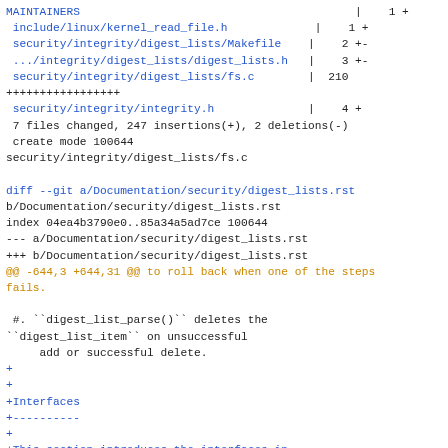MAINTAINERS | 1 +
 include/linux/kernel_read_file.h | 1 +
 security/integrity/digest_lists/Makefile | 2 +-
 .../integrity/digest_lists/digest_lists.h | 3 +-
 security/integrity/digest_lists/fs.c | 210 +++++++++++++++++
 security/integrity/integrity.h | 4 +
 7 files changed, 247 insertions(+), 2 deletions(-)
 create mode 100644
security/integrity/digest_lists/fs.c

diff --git a/Documentation/security/digest_lists.rst b/Documentation/security/digest_lists.rst
index 04ea4b3790e0..85a34a5ad7ce 100644
--- a/Documentation/security/digest_lists.rst
+++ b/Documentation/security/digest_lists.rst
@@ -644,3 +644,31 @@ to roll back when one of the steps fails.

 #. ``digest_list_parse()`` deletes the
``digest_list_item`` on unsuccessful
     add or successful delete.
+
+
+Interfaces
+----------
+
+This section introduces the interfaces in
+``<securityfs>/integrity/digest_lists`` necessary to
 interact with Huawei